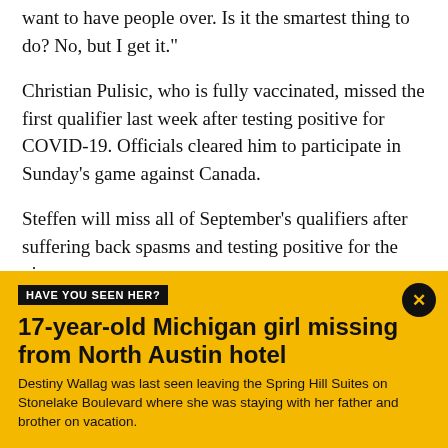want to have people over. Is it the smartest thing to do? No, but I get it."
Christian Pulisic, who is fully vaccinated, missed the first qualifier last week after testing positive for COVID-19. Officials cleared him to participate in Sunday's game against Canada.
Steffen will miss all of September's qualifiers after suffering back spasms and testing positive for the virus.
[Figure (infographic): Yellow advertisement banner with black label 'HAVE YOU SEEN HER?' and headline '17-year-old Michigan girl missing from North Austin hotel' with body text about Destiny Wallag. Has a close button (X) in upper right corner.]
17-year-old Michigan girl missing from North Austin hotel
Destiny Wallag was last seen leaving the Spring Hill Suites on Stonelake Boulevard where she was staying with her father and brother on vacation.